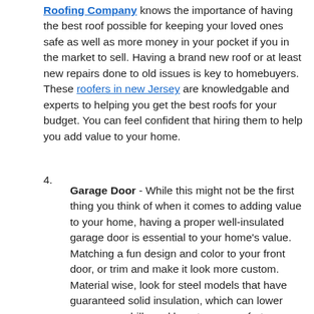Roofing Company knows the importance of having the best roof possible for keeping your loved ones safe as well as more money in your pocket if you in the market to sell. Having a brand new roof or at least new repairs done to old issues is key to homebuyers. These roofers in new Jersey are knowledgable and experts to helping you get the best roofs for your budget. You can feel confident that hiring them to help you add value to your home.
4. Garage Door - While this might not be the first thing you think of when it comes to adding value to your home, having a proper well-insulated garage door is essential to your home's value. Matching a fun design and color to your front door, or trim and make it look more custom. Material wise, look for steel models that have guaranteed solid insulation, which can lower your energy bills and boost your comfort.